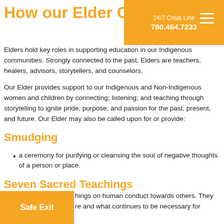How our Elder Ca…
24/7 Crisis Line 780.464.7233
Elders hold key roles in supporting education in our Indigenous communities. Strongly connected to the past, Elders are teachers, healers, advisors, storytellers, and counselors.
Our Elder provides support to our Indigenous and Non-Indigenous women and children by connecting; listening; and teaching through storytelling to ignite pride, purpose, and passion for the past, present, and future. Our Elder may also be called upon for or provide:
Smudging
a ceremony for purifying or cleansing the soul of negative thoughts of a person or place.
Seven Sacred Teachings
hings on human conduct towards others. They re and what continues to be necessary for
Safe Exit